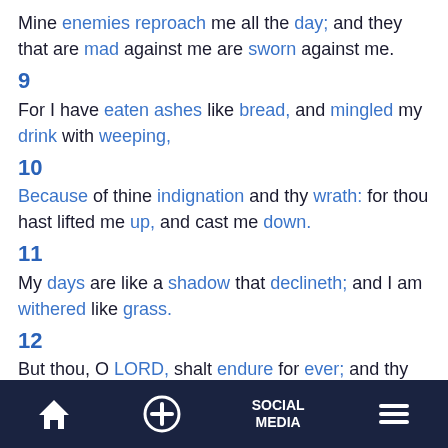Mine enemies reproach me all the day; and they that are mad against me are sworn against me.
9
For I have eaten ashes like bread, and mingled my drink with weeping,
10
Because of thine indignation and thy wrath: for thou hast lifted me up, and cast me down.
11
My days are like a shadow that declineth; and I am withered like grass.
12
But thou, O LORD, shalt endure for ever; and thy remembrance unto all generations.
13
Thou shalt arise, and have mercy upon Zion: for the time to favour her, yea, the set time, is come.
Home | + | SOCIAL MEDIA | Menu